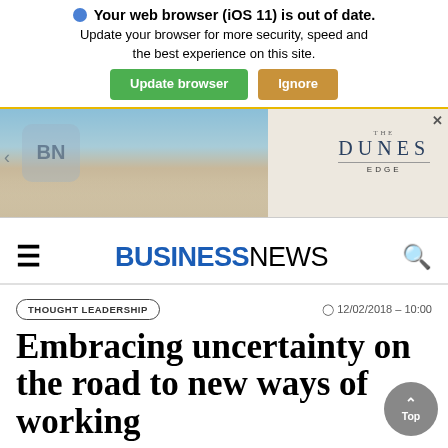Your web browser (iOS 11) is out of date. Update your browser for more security, speed and the best experience on this site. Update browser | Ignore
[Figure (photo): Advertisement banner showing The Dunes Edge resort with an ocean-view dining area]
BUSINESSNEWS
THOUGHT LEADERSHIP   12/02/2018 - 10:00
Embracing uncertainty on the road to new ways of working